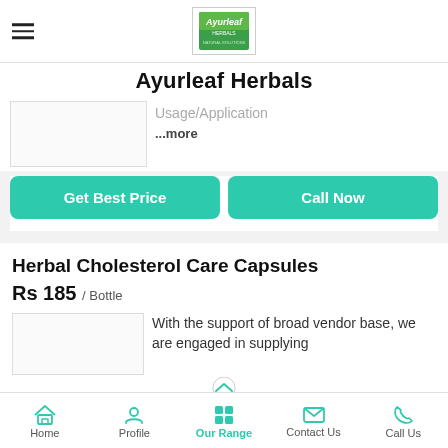[Figure (logo): Ayurleaf Herbals company logo in a bordered box with green branding]
Ayurleaf Herbals
Usage/Application
...more
Get Best Price
Call Now
Herbal Cholesterol Care Capsules
Rs 185 / Bottle
With the support of broad vendor base, we are engaged in supplying
Home   Profile   Our Range   Contact Us   Call Us